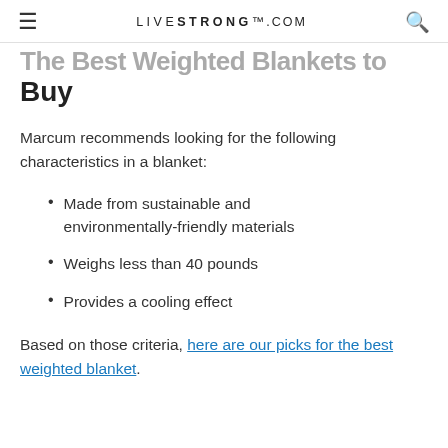LIVESTRONG.COM
The Best Weighted Blankets to Buy
Marcum recommends looking for the following characteristics in a blanket:
Made from sustainable and environmentally-friendly materials
Weighs less than 40 pounds
Provides a cooling effect
Based on those criteria, here are our picks for the best weighted blanket.